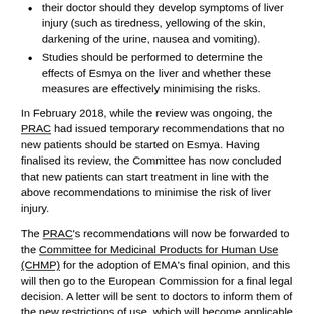their doctor should they develop symptoms of liver injury (such as tiredness, yellowing of the skin, darkening of the urine, nausea and vomiting).
Studies should be performed to determine the effects of Esmya on the liver and whether these measures are effectively minimising the risks.
In February 2018, while the review was ongoing, the PRAC had issued temporary recommendations that no new patients should be started on Esmya. Having finalised its review, the Committee has now concluded that new patients can start treatment in line with the above recommendations to minimise the risk of liver injury.
The PRAC's recommendations will now be forwarded to the Committee for Medicinal Products for Human Use (CHMP) for the adoption of EMA's final opinion, and this will then go to the European Commission for a final legal decision. A letter will be sent to doctors to inform them of the new restrictions of use, which will become applicable after a Commission decision is